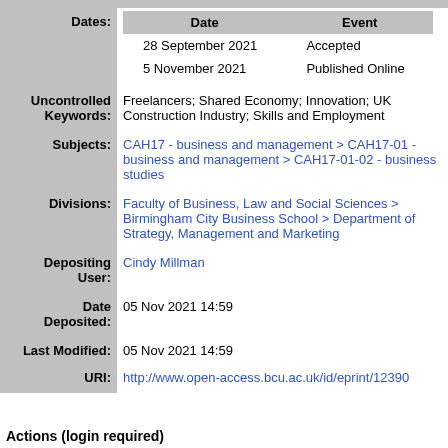| Field | Value |
| --- | --- |
| Dates: | Date / Event
28 September 2021 Accepted
5 November 2021 Published Online |
| Uncontrolled Keywords: | Freelancers; Shared Economy; Innovation; UK Construction Industry; Skills and Employment |
| Subjects: | CAH17 - business and management > CAH17-01 - business and management > CAH17-01-02 - business studies |
| Divisions: | Faculty of Business, Law and Social Sciences > Birmingham City Business School > Department of Strategy, Management and Marketing |
| Depositing User: | Cindy Millman |
| Date Deposited: | 05 Nov 2021 14:59 |
| Last Modified: | 05 Nov 2021 14:59 |
| URI: | http://www.open-access.bcu.ac.uk/id/eprint/12390 |
Actions (login required)